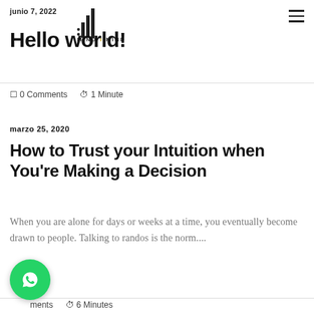junio 7, 2022
Hello world!
0 Comments   1 Minute
marzo 25, 2020
How to Trust your Intuition when You're Making a Decision
When you are alone for days or weeks at a time, you eventually become drawn to people. Talking to randos is the norm....
0 Comments   6 Minutes